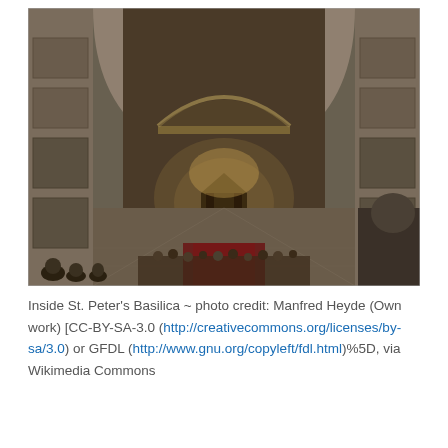[Figure (photo): Interior photograph of St. Peter's Basilica in Vatican City, showing the long central nave with ornate coffered ceiling, massive pillars decorated with mosaics and sculptures, and the Baldachin baldachin under the dome. Light streams in from the dome above. Visitors and tourists are visible in the foreground.]
Inside St. Peter's Basilica ~ photo credit: Manfred Heyde (Own work) [CC-BY-SA-3.0 (http://creativecommons.org/licenses/by-sa/3.0) or GFDL (http://www.gnu.org/copyleft/fdl.html)%5D, via Wikimedia Commons